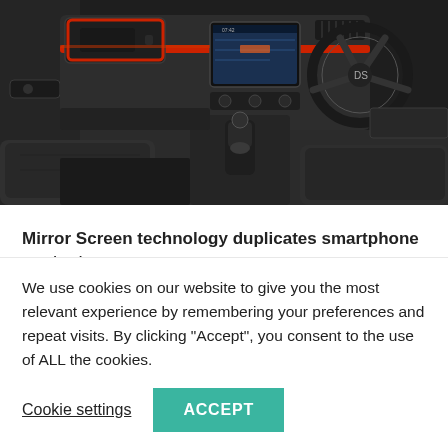[Figure (photo): Interior of a Citroën C3 car showing the dashboard with red accent trim, 7-inch touchscreen, steering wheel, center console with gear shift, and front seats.]
Mirror Screen technology duplicates smartphone content directly onto the 7-inch touchscreen. Here the driver can...
We use cookies on our website to give you the most relevant experience by remembering your preferences and repeat visits. By clicking "Accept", you consent to the use of ALL the cookies.
Cookie settings   ACCEPT